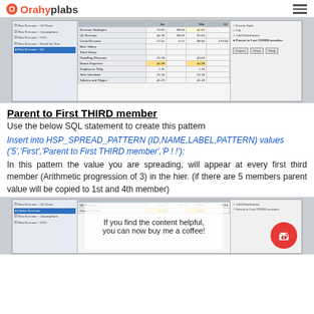Orahyplabs
[Figure (screenshot): Screenshot of Oracle Hyperion Planning spread pattern configuration interface showing a table with budget items and options panel]
Parent to First THIRD member
Use the below SQL statement to create this pattern
Insert into HSP_SPREAD_PATTERN (ID,NAME,LABEL,PATTERN) values ('5','First','Parent to First THIRD member','P ! !');
In this pattern the value you are spreading, will appear at every first third member (Arithmetic progression of 3) in the hier. (if there are 5 members parent value will be copied to 1st and 4th member)
[Figure (screenshot): Screenshot of Oracle Hyperion Planning interface at bottom with coffee promotion overlay and buy me a coffee button]